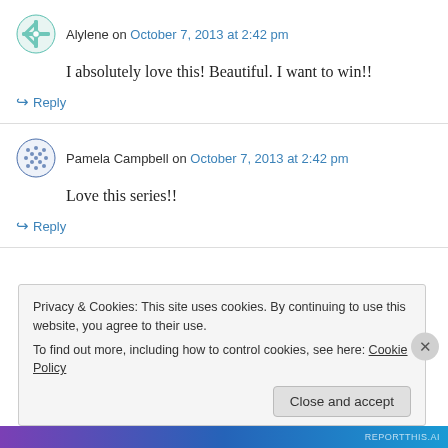[Figure (illustration): Avatar icon for Alylene - teal snowflake/grid pattern circle]
Alylene on October 7, 2013 at 2:42 pm
I absolutely love this! Beautiful. I want to win!!
↪ Reply
[Figure (illustration): Avatar icon for Pamela Campbell - blue dotted pattern circle]
Pamela Campbell on October 7, 2013 at 2:42 pm
Love this series!!
↪ Reply
Privacy & Cookies: This site uses cookies. By continuing to use this website, you agree to their use.
To find out more, including how to control cookies, see here: Cookie Policy
Close and accept